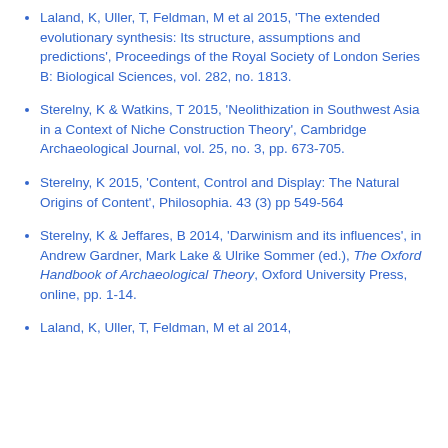Laland, K, Uller, T, Feldman, M et al 2015, 'The extended evolutionary synthesis: Its structure, assumptions and predictions', Proceedings of the Royal Society of London Series B: Biological Sciences, vol. 282, no. 1813.
Sterelny, K & Watkins, T 2015, 'Neolithization in Southwest Asia in a Context of Niche Construction Theory', Cambridge Archaeological Journal, vol. 25, no. 3, pp. 673-705.
Sterelny, K 2015, 'Content, Control and Display: The Natural Origins of Content', Philosophia. 43 (3) pp 549-564
Sterelny, K & Jeffares, B 2014, 'Darwinism and its influences', in Andrew Gardner, Mark Lake & Ulrike Sommer (ed.), The Oxford Handbook of Archaeological Theory, Oxford University Press, online, pp. 1-14.
Laland, K, Uller, T, Feldman, M et al 2014,